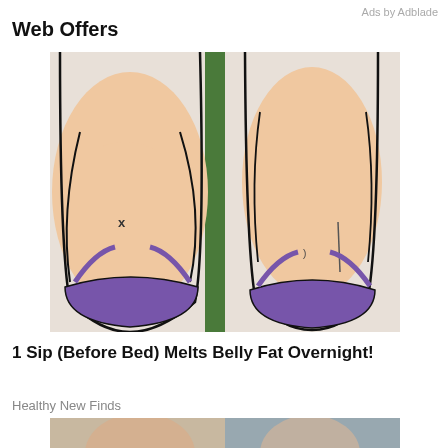Ads by Adblade
Web Offers
[Figure (illustration): Cartoon illustration showing before and after belly fat reduction: left side shows a larger belly in purple bikini bottoms, right side shows a slimmer belly in purple bikini bottoms, against a green background.]
1 Sip (Before Bed) Melts Belly Fat Overnight!
Healthy New Finds
[Figure (photo): Photo of a bride and groom smiling, outdoors near a lake with trees in background.]